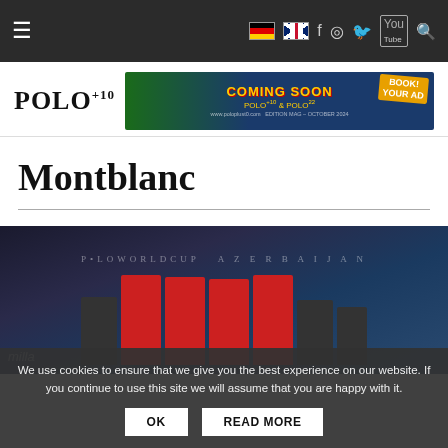≡ [DE flag] [UK flag] f ○ 🐦 YouTube ⌕
[Figure (logo): POLO+10 magazine logo with plus10 superscript]
[Figure (photo): Advertisement banner reading COMING SOON POLO+10 & POLO22, BOOK YOUR AD]
Montblanc
[Figure (photo): Team photo of polo players in red jerseys celebrating at Polo World Cup Azerbaijan, with milla sponsor signage visible]
We use cookies to ensure that we give you the best experience on our website. If you continue to use this site we will assume that you are happy with it.
OK   READ MORE